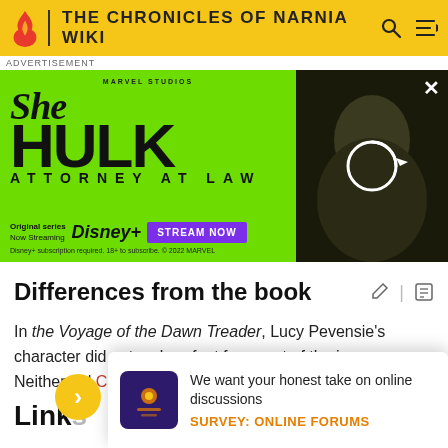THE CHRONICLES OF NARNIA WIKI
[Figure (screenshot): Advertisement for She-Hulk: Attorney at Law on Disney+. Green background with large She-Hulk text logo, Disney+ branding, Stream Now button, and image of actress on right.]
Differences from the book
In the Voyage of the Dawn Treader, Lucy Pevensie's character did not go barefoot for a part of the journey. Neither did Coriakin and Ramandu
Links
We want your honest take on online discussions
SURVEY: ONLINE FORUMS